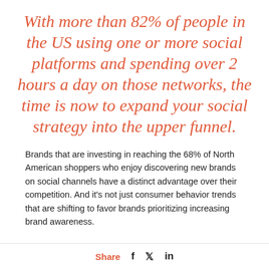With more than 82% of people in the US using one or more social platforms and spending over 2 hours a day on those networks, the time is now to expand your social strategy into the upper funnel.
Brands that are investing in reaching the 68% of North American shoppers who enjoy discovering new brands on social channels have a distinct advantage over their competition. And it's not just consumer behavior trends that are shifting to favor brands prioritizing increasing brand awareness.
A full funnel strategy will also help mitigate:
Share   f   𝕏   in